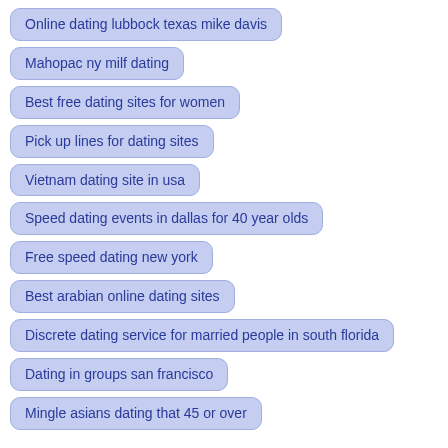Online dating lubbock texas mike davis
Mahopac ny milf dating
Best free dating sites for women
Pick up lines for dating sites
Vietnam dating site in usa
Speed dating events in dallas for 40 year olds
Free speed dating new york
Best arabian online dating sites
Discrete dating service for married people in south florida
Dating in groups san francisco
Mingle asians dating that 45 or over